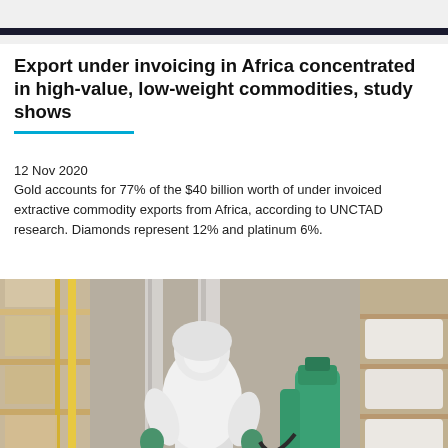Export under invoicing in Africa concentrated in high-value, low-weight commodities, study shows
12 Nov 2020
Gold accounts for 77% of the $40 billion worth of under invoiced extractive commodity exports from Africa, according to UNCTAD research. Diamonds represent 12% and platinum 6%.
[Figure (photo): A worker in a white protective hazmat suit and green gloves carrying green gas cylinders and spraying equipment inside an industrial warehouse with shelving units stacked with goods.]